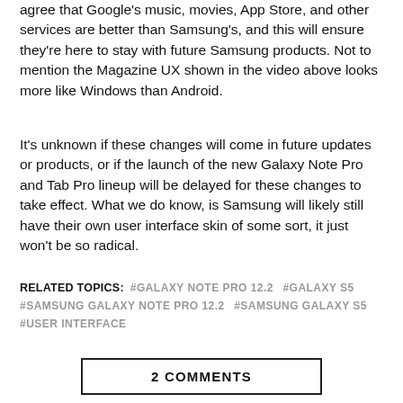agree that Google's music, movies, App Store, and other services are better than Samsung's, and this will ensure they're here to stay with future Samsung products. Not to mention the Magazine UX shown in the video above looks more like Windows than Android.
It's unknown if these changes will come in future updates or products, or if the launch of the new Galaxy Note Pro and Tab Pro lineup will be delayed for these changes to take effect. What we do know, is Samsung will likely still have their own user interface skin of some sort, it just won't be so radical.
RELATED TOPICS: #GALAXY NOTE PRO 12.2 #GALAXY S5 #SAMSUNG GALAXY NOTE PRO 12.2 #SAMSUNG GALAXY S5 #USER INTERFACE
2 COMMENTS